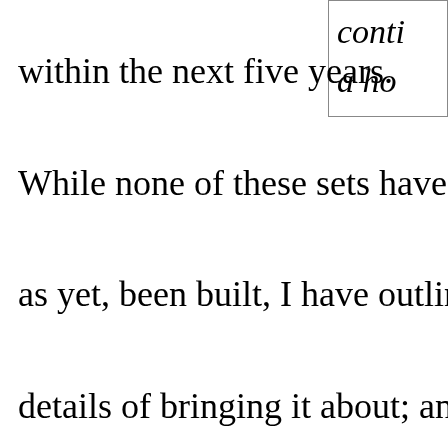conti... a ho...
within the next five years. While none of these sets have, as yet, been built, I have outlined in th details of bringing it about; and, thoug show here may not be the only practic because a similar method is now in us Corporation of America in their pictur which are in operation twenty-four ho